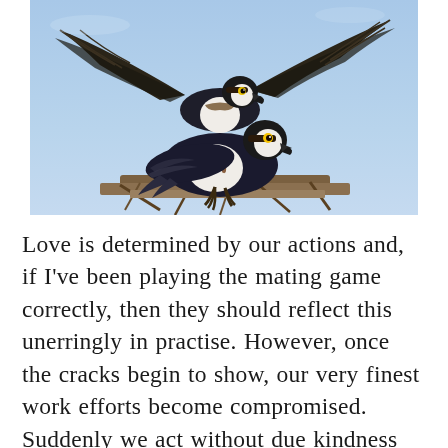[Figure (photo): Two ospreys perched on a nest made of sticks, against a blue sky background. One bird is landing or spreading its wings above another bird sitting on the nest. The birds have dark brown and white plumage typical of ospreys.]
Love is determined by our actions and, if I've been playing the mating game correctly, then they should reflect this unerringly in practise. However, once the cracks begin to show, our very finest work efforts become compromised. Suddenly we act without due kindness and the equilibrium becomes precariously placed in our favor. We're talking titanic power struggles, epic guilt trips, harsh home truths, and a general